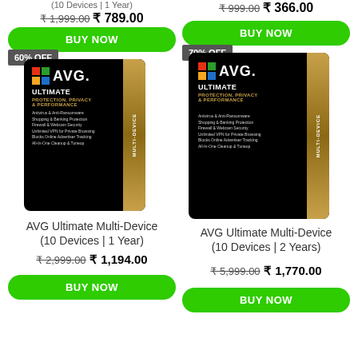(10 Devices | 1 Year) ₹1,999.00 ₹789.00
BUY NOW
₹999.00 ₹366.00
BUY NOW
60% OFF
[Figure (photo): AVG Ultimate Multi-Device product box – black with gold stripe, AVG logo, ULTIMATE PROTECTION PRIVACY & PERFORMANCE text]
70% OFF
[Figure (photo): AVG Ultimate Multi-Device product box – black with gold stripe, AVG logo, ULTIMATE PROTECTION PRIVACY & PERFORMANCE text]
AVG Ultimate Multi-Device (10 Devices | 1 Year)
₹2,999.00 ₹1,194.00
BUY NOW
AVG Ultimate Multi-Device (10 Devices | 2 Years)
₹5,999.00 ₹1,770.00
BUY NOW